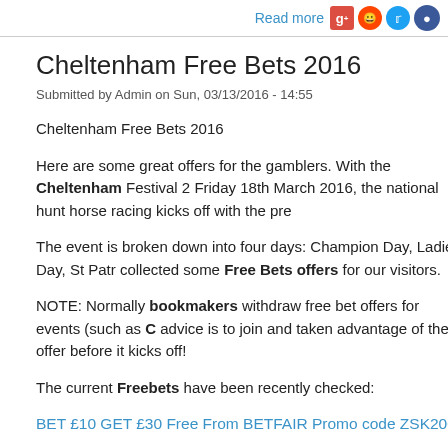Read more
Cheltenham Free Bets 2016
Submitted by Admin on Sun, 03/13/2016 - 14:55
Cheltenham Free Bets 2016
Here are some great offers for the gamblers. With the Cheltenham Festival 2 Friday 18th March 2016, the national hunt horse racing kicks off with the pre
The event is broken down into four days: Champion Day, Ladies Day, St Patr collected some Free Bets offers for our visitors.
NOTE: Normally bookmakers withdraw free bet offers for events (such as C advice is to join and taken advantage of these offer before it kicks off!
The current Freebets have been recently checked:
BET £10 GET £30 Free From BETFAIR Promo code ZSK200
BETDAQ have a £25 Free Bet. Enter offer code FB2515